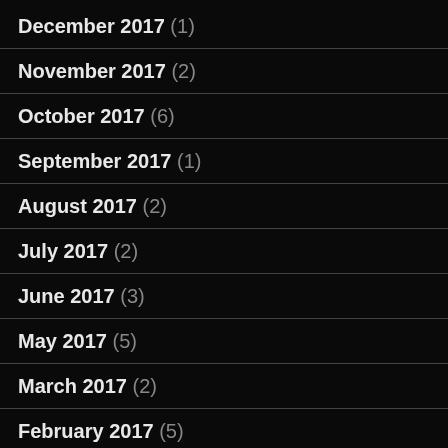December 2017 (1)
November 2017 (2)
October 2017 (6)
September 2017 (1)
August 2017 (2)
July 2017 (2)
June 2017 (3)
May 2017 (5)
March 2017 (2)
February 2017 (5)
January 2017 (3)
December 2016 (2)
November 2016 (2)